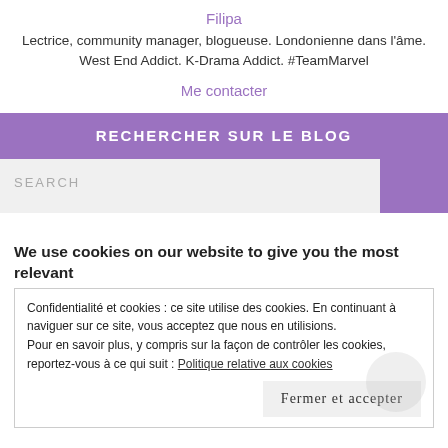Filipa
Lectrice, community manager, blogueuse. Londonienne dans l'âme. West End Addict. K-Drama Addict. #TeamMarvel
Me contacter
RECHERCHER SUR LE BLOG
SEARCH
We use cookies on our website to give you the most relevant
Confidentialité et cookies : ce site utilise des cookies. En continuant à naviguer sur ce site, vous acceptez que nous en utilisions.
Pour en savoir plus, y compris sur la façon de contrôler les cookies, reportez-vous à ce qui suit : Politique relative aux cookies
Fermer et accepter